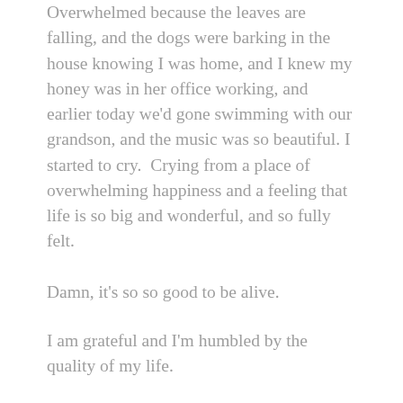Overwhelmed because the leaves are falling, and the dogs were barking in the house knowing I was home, and I knew my honey was in her office working, and earlier today we'd gone swimming with our grandson, and the music was so beautiful. I started to cry.  Crying from a place of overwhelming happiness and a feeling that life is so big and wonderful, and so fully felt.
Damn, it's so so good to be alive.
I am grateful and I'm humbled by the quality of my life.
The thing I learned from my honey's illness, and then mine, was something I already kind of knew anyway, but it got reinforced big time. It's something, a feeling, I wish everyone could feel and something I wish everyone could know, without having to go through something so major, so awful. It's the surety of knowing that there's nothing